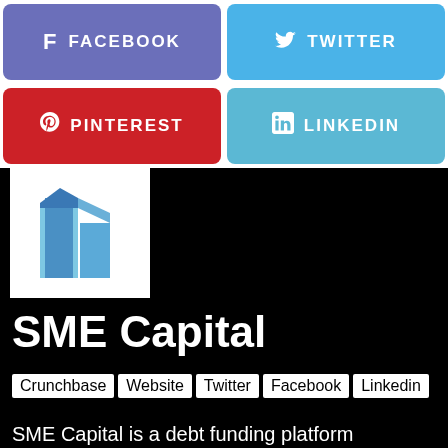[Figure (infographic): Social media buttons row 1: Facebook (purple-blue) and Twitter (light blue)]
[Figure (infographic): Social media buttons row 2: Pinterest (red) and LinkedIn (blue)]
[Figure (logo): SME Capital logo: stylized blue building/skyscraper icon on white background]
SME Capital
Crunchbase
Website
Twitter
Facebook
Linkedin
SME Capital is a debt funding platform matching institutional investors.